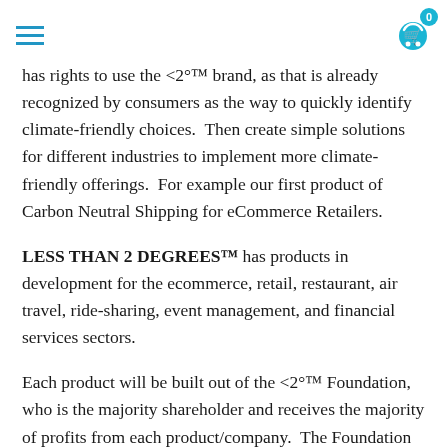Navigation header with hamburger menu and shopping cart (0 items)
has rights to use the <2°™ brand, as that is already recognized by consumers as the way to quickly identify climate-friendly choices.  Then create simple solutions for different industries to implement more climate-friendly offerings.  For example our first product of Carbon Neutral Shipping for eCommerce Retailers.
LESS THAN 2 DEGREES™ has products in development for the ecommerce, retail, restaurant, air travel, ride-sharing, event management, and financial services sectors.
Each product will be built out of the <2°™ Foundation, who is the majority shareholder and receives the majority of profits from each product/company.  The Foundation will then use the profits to reinvest in more product/companies, the awareness of LESS THAN 2 DEGREES™ and the <2°™ brand, and the direct reduction and removal of carbon from our planet.